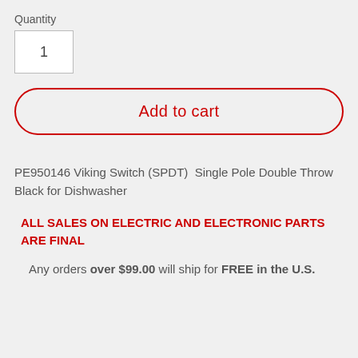Quantity
1
Add to cart
PE950146 Viking Switch (SPDT)  Single Pole Double Throw Black for Dishwasher
ALL SALES ON ELECTRIC AND ELECTRONIC PARTS ARE FINAL
Any orders over $99.00 will ship for FREE in the U.S.